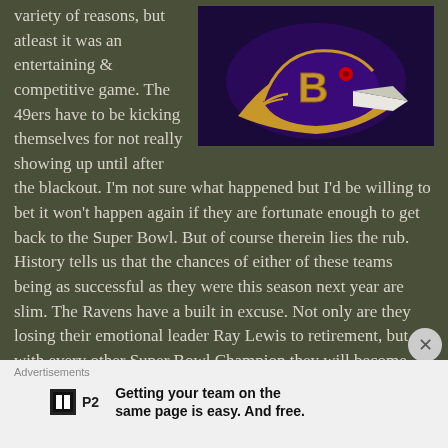variety of reasons, but atleast it was an entertaining & competitive game. The 49ers have to be kicking themselves for not really showing up until after the blackout. I'm not sure what happened but I'd be willing to bet it won't happen again if they are fortunate enough to get back to the Super Bowl. But of course therein lies the rub. History tells us that the chances of either of these teams being as successful as they were this season next year are slim. The Ravens have a built in excuse. Not only are they losing their emotional leader Ray Lewis to retirement, but as with every other Super Bowl Champion they will become victims
[Figure (logo): Baltimore Ravens NFL team logo — purple raven bird head facing right with gold 'B' letter, on dark/black background]
Advertisements
Getting your team on the same page is easy. And free.